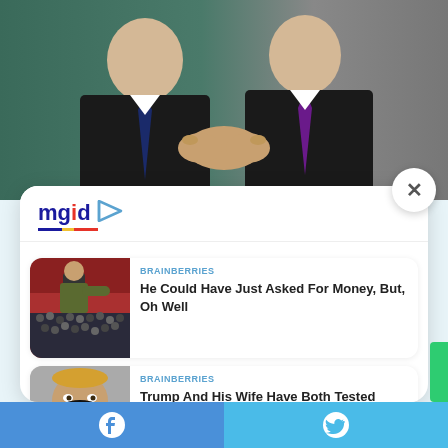[Figure (photo): Two men in dark suits shaking hands against a teal/green backdrop]
[Figure (logo): MGID logo with colorful underline and play button icon]
BRAINBERRIES
He Could Have Just Asked For Money, But, Oh Well
BRAINBERRIES
Trump And His Wife Have Both Tested Positive For COVID-19